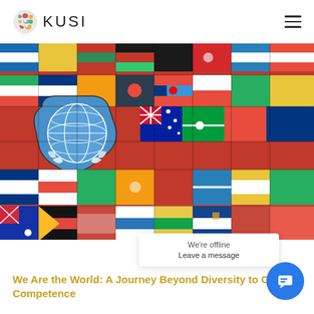KUSI
[Figure (photo): A jigsaw puzzle made of colorful world flags with a prominent blue United Nations puzzle piece in the center foreground, representing cultural diversity and international cooperation.]
We're offline
Leave a message
We Are the World: A Journey Beyond Diversity to Cultural Competence